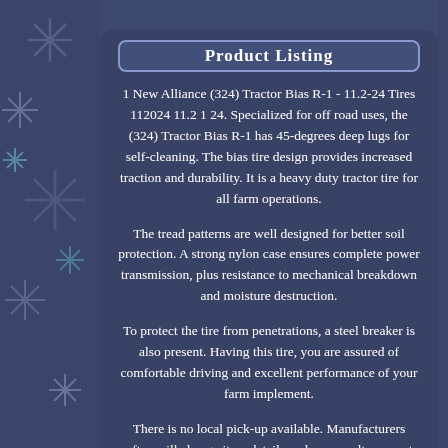1 New Alliance (324) Tractor Bias R-1 - 11.2-24 Tires 112024 11.2 1 24. Specialized for off road uses, the (324) Tractor Bias R-1 has 45-degrees deep lugs for self-cleaning. The bias tire design provides increased traction and durability. It is a heavy duty tractor tire for all farm operations.
The tread patterns are well designed for better soil protection. A strong nylon case ensures complete power transmission, plus resistance to mechanical breakdown and moisture destruction.
To protect the tire from penetrations, a steel breaker is also present. Having this tire, you are assured of comfortable driving and excellent performance of your farm implement.
There is no local pick-up available. Manufacturers often will change item details and as a result may not update their pictures. We have no personal knowledge or experience with this product, nor do